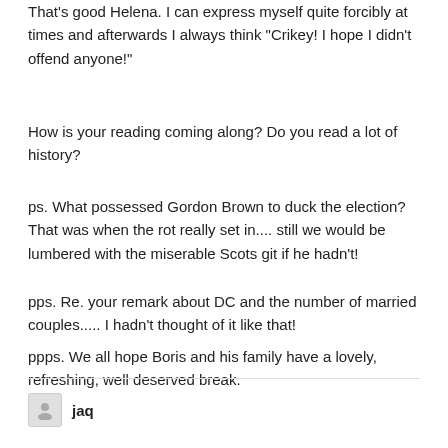That's good Helena. I can express myself quite forcibly at times and afterwards I always think "Crikey! I hope I didn't offend anyone!"
How is your reading coming along? Do you read a lot of history?
ps. What possessed Gordon Brown to duck the election? That was when the rot really set in.... still we would be lumbered with the miserable Scots git if he hadn't!
pps. Re. your remark about DC and the number of married couples..... I hadn't thought of it like that!
ppps. We all hope Boris and his family have a lovely, refreshing, well deserved break.
jaq